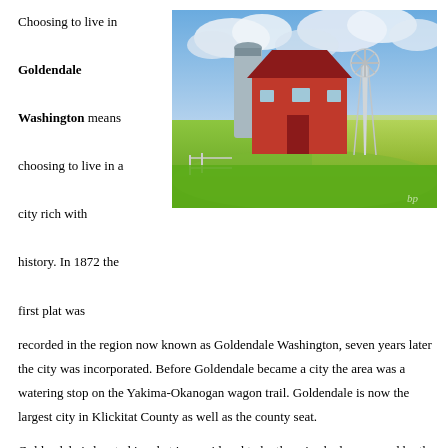Choosing to live in Goldendale Washington means choosing to live in a city rich with history. In 1872 the first plat was recorded in the region now known as Goldendale Washington, seven years later the city was incorporated. Before Goldendale became a city the area was a watering stop on the Yakima-Okanogan wagon trail. Goldendale is now the largest city in Klickitat County as well as the county seat.
[Figure (photo): Photo of a red barn with a silo and a windmill on a green field under a dramatic cloudy sky. A watermark 'bp' appears in the lower right corner.]
Goldendale is located in what is considered to be the rain shadow, caused by the Cascade Mountains 40 miles to the west. Annually the city gets between 8 and 12 inches of rain a year with intermittent thunderstorms late in the summer.